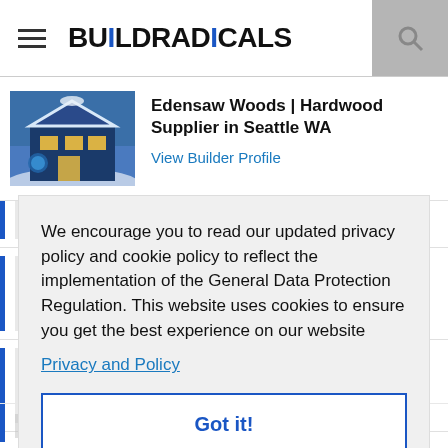BUILDRADICALS
Edensaw Woods | Hardwood Supplier in Seattle WA
View Builder Profile
We encourage you to read our updated privacy policy and cookie policy to reflect the implementation of the General Data Protection Regulation. This website uses cookies to ensure you get the best experience on our website
Privacy and Policy
Got it!